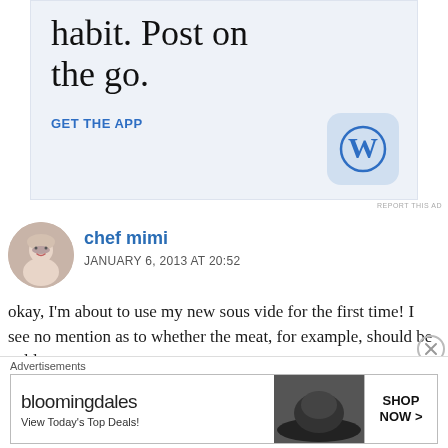[Figure (screenshot): WordPress.com advertisement banner with headline 'habit. Post on the go.' and a 'GET THE APP' link with WordPress logo icon]
REPORT THIS AD
chef mimi
JANUARY 6, 2013 AT 20:52
okay, I'm about to use my new sous vide for the first time! I see no mention as to whether the meat, for example, should be cold, at room temperature, or
[Figure (screenshot): Bloomingdale's advertisement banner with text 'bloomingdales View Today's Top Deals!' and 'SHOP NOW >' button]